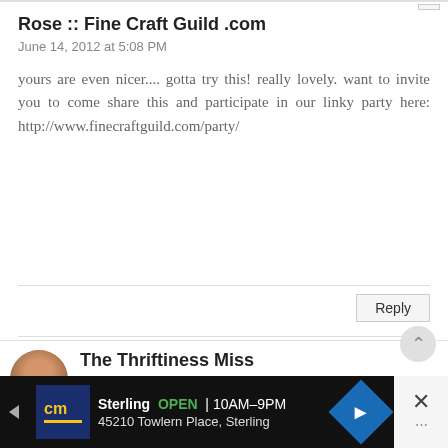Rose :: Fine Craft Guild .com
June 14, 2012 at 5:08 PM
yours are even nicer.... gotta try this! really lovely. want to invite you to come share this and participate in our linky party here: http://www.finecraftguild.com/party/
The Thriftiness Miss
June 15, 2012 at 3:05 PM
These are sooo cute and such a great tutorial!
Just stopping by to let you know that I gave you th